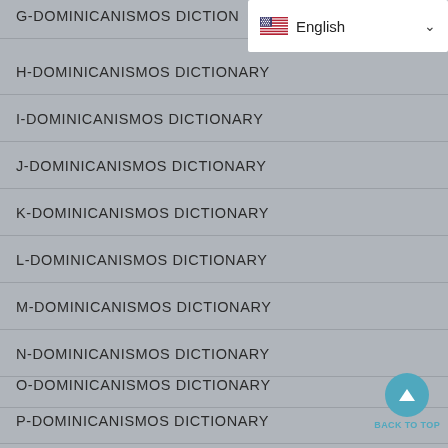G-DOMINICANISMOS DICTIONARY
[Figure (screenshot): English language selector dropdown with US flag icon and chevron arrow]
H-DOMINICANISMOS DICTIONARY
I-DOMINICANISMOS DICTIONARY
J-DOMINICANISMOS DICTIONARY
K-DOMINICANISMOS DICTIONARY
L-DOMINICANISMOS DICTIONARY
M-DOMINICANISMOS DICTIONARY
N-DOMINICANISMOS DICTIONARY
O-DOMINICANISMOS DICTIONARY
P-DOMINICANISMOS DICTIONARY
Q-DOMINICANISMOS DICTIONARY
R-DOMINICANISMOS DICTIONARY
S-DOMINICANISMOS DICTIONARY